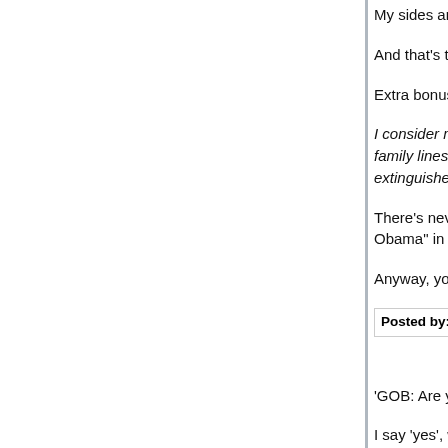My sides are aching.
And that's the health care reform "debate" in this comedy gold, I tell ya.
Extra bonus points for this:
I consider my penchant for liberty to be a product... is difficult to cause me to have negative feelings a... my family lines were here when the United States... through the public school system before teaching... extinguished.
There's never a wrong time to work in a little fact-hear in the public schools today all the kids have Obama" in Swahili.
Anyway, your family history explains a lot. My gra... from Calabria in 1904. He couldn't possibly have do.
Posted by: Uncle Kvetch | March 16, 2010 at 03:16 PM
'GOB: Are you as principled when it comes to wa...
I say 'yes', with a caveat. Without acting as if I'm a